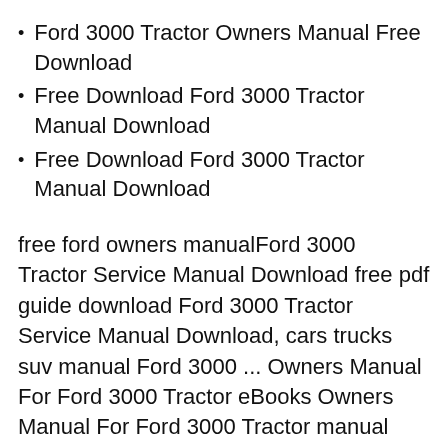Ford 3000 Tractor Owners Manual Free Download
Free Download Ford 3000 Tractor Manual Download
Free Download Ford 3000 Tractor Manual Download
free ford owners manualFord 3000 Tractor Service Manual Download free pdf guide download Ford 3000 Tractor Service Manual Download, cars trucks suv manual Ford 3000 ... Owners Manual For Ford 3000 Tractor eBooks Owners Manual For Ford 3000 Tractor manual download,the freshfields amazoncom free shipping on qualifying